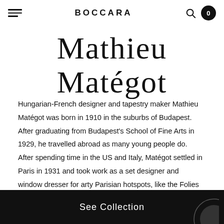BOCCARA
Mathieu Matégot
Hungarian-French designer and tapestry maker Mathieu Matégot was born in 1910 in the suburbs of Budapest. After graduating from Budapest's School of Fine Arts in 1929, he travelled abroad as many young people do. After spending time in the US and Italy, Matégot settled in Paris in 1931 and took work as a set designer and window dresser for arty Parisian hotspots, like the Folies Bergère and the Galerie Lafayette department store.
See Collection